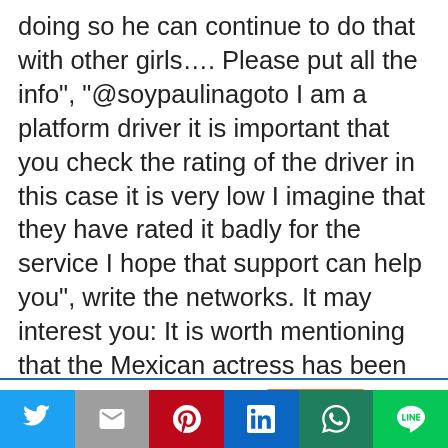doing so he can continue to do that with other girls…. Please put all the info", "@soypaulinagoto I am a platform driver it is important that you check the rating of the driver in this case it is very low I imagine that they have rated it badly for the service I hope that support can help you", write the networks. It may interest you: It is worth mentioning that the Mexican actress has been away from the world of telenovelas, as she is focused on other projects.
Esta web usa cookies.
[Figure (other): Social media share buttons: Twitter, Gmail, Pinterest, LinkedIn, WhatsApp, Line]